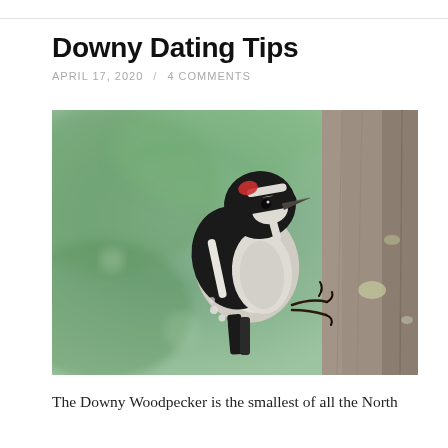Downy Dating Tips
APRIL 17, 2020 / 4 COMMENTS
[Figure (photo): A Downy Woodpecker clinging to the side of a tree trunk, viewed from the side. The bird has black and white plumage with a small red patch on the back of its head. The background is a soft blurred green foliage.]
The Downy Woodpecker is the smallest of all the North